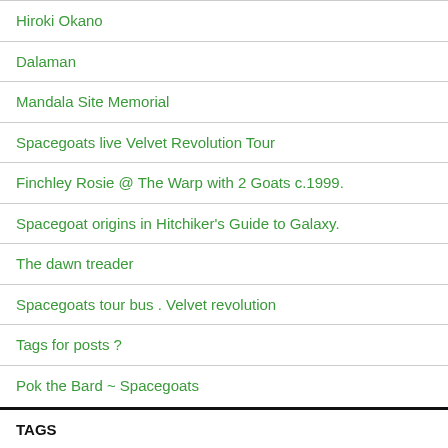Hiroki Okano
Dalaman
Mandala Site Memorial
Spacegoats live Velvet Revolution Tour
Finchley Rosie @ The Warp with 2 Goats c.1999.
Spacegoat origins in Hitchiker's Guide to Galaxy.
The dawn treader
Spacegoats tour bus . Velvet revolution
Tags for posts ?
Pok the Bard ~ Spacegoats
TAGS